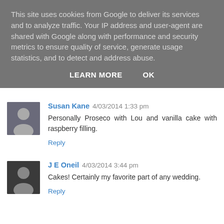This site uses cookies from Google to deliver its services and to analyze traffic. Your IP address and user-agent are shared with Google along with performance and security metrics to ensure quality of service, generate usage statistics, and to detect and address abuse.
LEARN MORE   OK
Susan Kane  4/03/2014 1:33 pm
Personally Proseco with Lou and vanilla cake with raspberry filling.
Reply
J E Oneil  4/03/2014 3:44 pm
Cakes! Certainly my favorite part of any wedding.
Reply